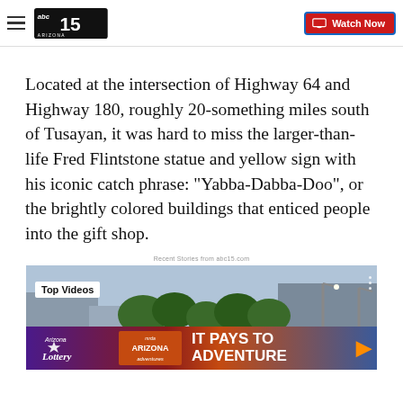abc15 Arizona — Watch Now
Located at the intersection of Highway 64 and Highway 180, roughly 20-something miles south of Tusayan, it was hard to miss the larger-than-life Fred Flintstone statue and yellow sign with his iconic catch phrase: "Yabba-Dabba-Doo", or the brightly colored buildings that enticed people into the gift shop.
Recent Stories from abc15.com
[Figure (screenshot): Top Videos section with an outdoor scene showing trees and buildings, overlaid with an Arizona Lottery advertisement banner reading IT PAYS TO ADVENTURE]